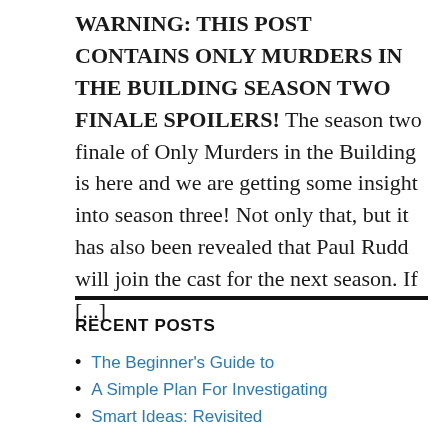WARNING: THIS POST CONTAINS ONLY MURDERS IN THE BUILDING SEASON TWO FINALE SPOILERS! The season two finale of Only Murders in the Building is here and we are getting some insight into season three! Not only that, but it has also been revealed that Paul Rudd will join the cast for the next season. If [...]
RECENT POSTS
The Beginner's Guide to
A Simple Plan For Investigating
Smart Ideas: Revisited